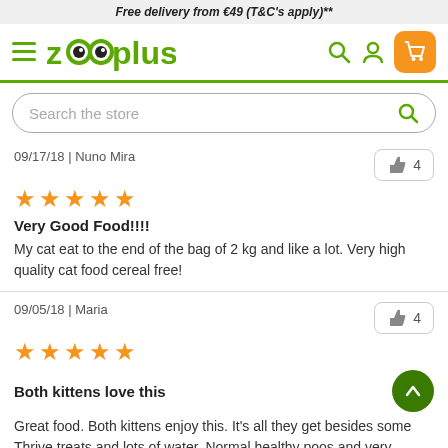Free delivery from €49 (T&C's apply)**
[Figure (logo): zooplus logo with green text and owl eyes]
Search the store
09/17/18 | Nuno Mira
👍 4
Very Good Food!!!!
My cat eat to the end of the bag of 2 kg and like a lot. Very high quality cat food cereal free!
09/05/18 | Maria
👍 4
Both kittens love this
Great food. Both kittens enjoy this. It's all they get besides some Thrive treats and lots of water. Normal healthy poos and very healthy strong kittens.